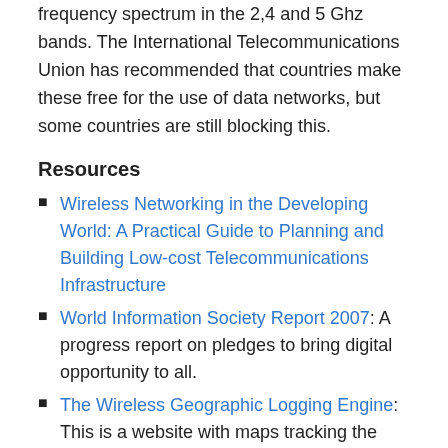frequency spectrum in the 2,4 and 5 Ghz bands. The International Telecommunications Union has recommended that countries make these free for the use of data networks, but some countries are still blocking this.
Resources
Wireless Networking in the Developing World: A Practical Guide to Planning and Building Low-cost Telecommunications Infrastructure
World Information Society Report 2007: A progress report on pledges to bring digital opportunity to all.
The Wireless Geographic Logging Engine: This is a website with maps tracking the presence of Wi-Fi access around the globe. So far it maps over 10 million separate Wi-Fi networks. Entrepreneurs only have to